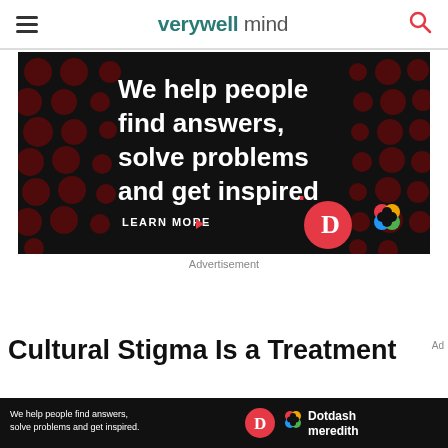verywell mind
[Figure (infographic): Dotdash Meredith advertisement on black background with dark red dot pattern. Text reads: 'We help people find answers, solve problems and get inspired.' with 'LEARN MORE' button, Dotdash D logo in red circle, and colorful Dotdash Meredith flower logo.]
Advertisement
Cultural Stigma Is a Treatment
[Figure (infographic): Bottom banner ad: 'We help people find answers, solve problems and get inspired.' with Dotdash D logo and Dotdash meredith text.]